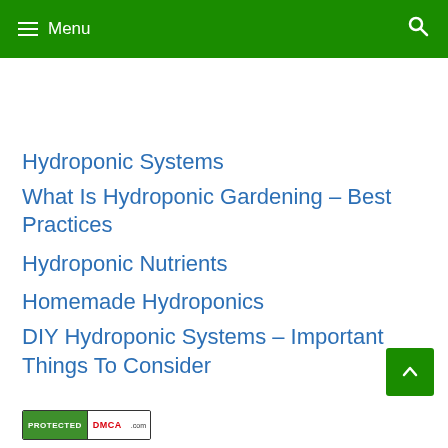Menu
Hydroponic Systems
What Is Hydroponic Gardening – Best Practices
Hydroponic Nutrients
Homemade Hydroponics
DIY Hydroponic Systems – Important Things To Consider
[Figure (logo): DMCA Protected badge with green PROTECTED label and red DMCA logo]
[Figure (other): Back to top button, green square with upward arrow]